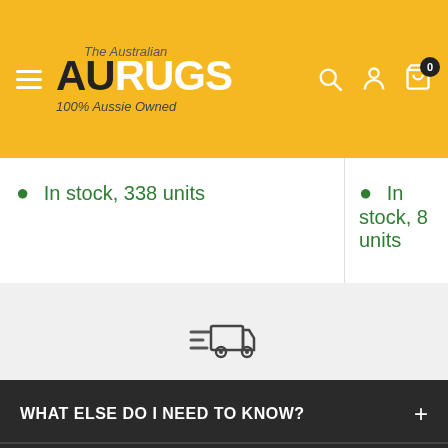[Figure (logo): AU Rugs logo with text 'The Australian AU RUGS 100% Aussie Owned' on yellow background with navigation icons]
In stock, 338 units
In stock, 8 units
[Figure (illustration): Fast delivery truck icon with speed lines]
Fast & Free Shipping*
On all orders over $99
WHAT ELSE DO I NEED TO KNOW?